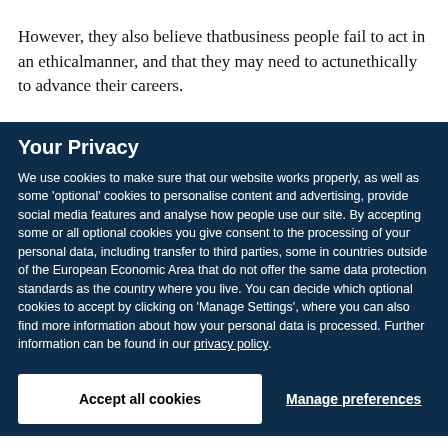However, they also believe thatbusiness people fail to act in an ethicalmanner, and that they may need to actunethically to advance their careers.
Your Privacy
We use cookies to make sure that our website works properly, as well as some 'optional' cookies to personalise content and advertising, provide social media features and analyse how people use our site. By accepting some or all optional cookies you give consent to the processing of your personal data, including transfer to third parties, some in countries outside of the European Economic Area that do not offer the same data protection standards as the country where you live. You can decide which optional cookies to accept by clicking on 'Manage Settings', where you can also find more information about how your personal data is processed. Further information can be found in our privacy policy.
Accept all cookies
Manage preferences